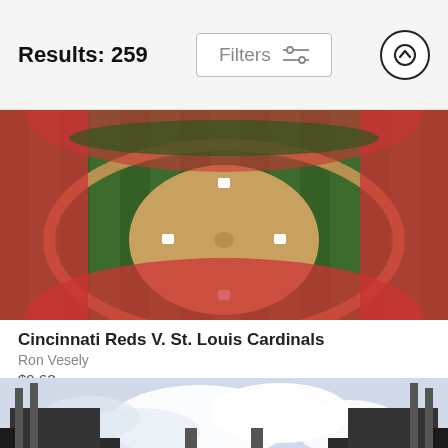Results: 259
Filters
[Figure (photo): Aerial view of a packed baseball stadium showing the diamond and field from above, with crowds in red filling the stands - Cincinnati Reds vs St. Louis Cardinals]
Cincinnati Reds V. St. Louis Cardinals
Ron Vesely
$9.62
[Figure (photo): Wide panoramic ground-level view of a baseball stadium exterior and field with cloudy sky, stadium structures on left and right with crowds visible]